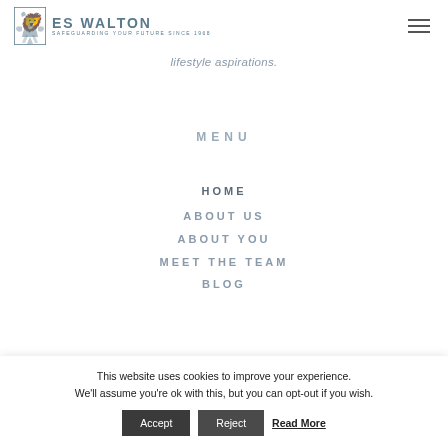ES WALTON — SAFEGUARDING YOUR FUTURE SINCE 1968
lifestyle aspirations.
MENU
HOME
ABOUT US
ABOUT YOU
MEET THE TEAM
BLOG
This website uses cookies to improve your experience. We'll assume you're ok with this, but you can opt-out if you wish.  Accept  Reject  Read More